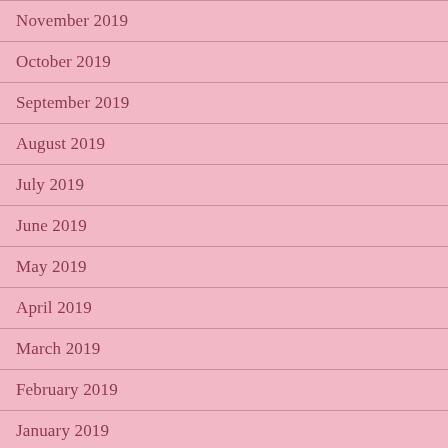November 2019
October 2019
September 2019
August 2019
July 2019
June 2019
May 2019
April 2019
March 2019
February 2019
January 2019
November 2018